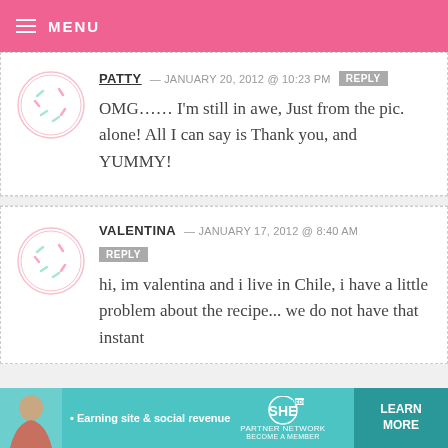MENU
PATTY — JANUARY 20, 2012 @ 10:23 PM REPLY
OMG…… I'm still in awe, Just from the pic. alone! All I can say is Thank you, and YUMMY!
VALENTINA — JANUARY 17, 2012 @ 8:40 AM REPLY
hi, im valentina and i live in Chile, i have a little problem about the recipe... we do not have that instant